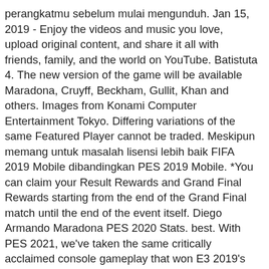perangkatmu sebelum mulai mengunduh. Jan 15, 2019 - Enjoy the videos and music you love, upload original content, and share it all with friends, family, and the world on YouTube. Batistuta 4. The new version of the game will be available Maradona, Cruyff, Beckham, Gullit, Khan and others. Images from Konami Computer Entertainment Tokyo. Differing variations of the same Featured Player cannot be traded. Meskipun memang untuk masalah lisensi lebih baik FIFA 2019 Mobile dibandingkan PES 2019 Mobile. *You can claim your Result Rewards and Grand Final Rewards starting from the end of the Grand Final match until the end of the event itself. Diego Armando Maradona PES 2020 Stats. best. With PES 2021, we've taken the same critically acclaimed console gameplay that won E3 2019's "Best Sports Game" award, and distilled its essence to bring you the most authentic soccer experience on mobile to date. 2019-06-17: Misi Mencari Legend CB Gunakan 300 Ribu Gp | Pes 2019 mobile: 2019-06-14: Pertandingan Tergreget Anfield Games.!! Please click here in you deleted and